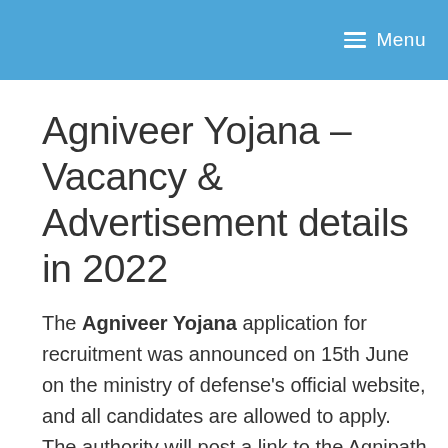Menu
Agniveer Yojana – Vacancy & Advertisement details in 2022
The Agniveer Yojana application for recruitment was announced on 15th June on the ministry of defense's official website, and all candidates are allowed to apply. The authority will post a link to the Agnipath plan, which will attract 46,000 Agniveers. As